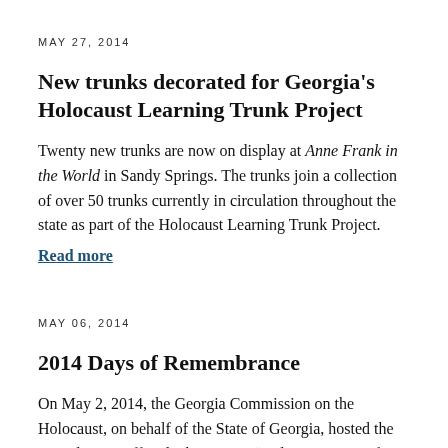MAY 27, 2014
New trunks decorated for Georgia's Holocaust Learning Trunk Project
Twenty new trunks are now on display at Anne Frank in the World in Sandy Springs. The trunks join a collection of over 50 trunks currently in circulation throughout the state as part of the Holocaust Learning Trunk Project.
Read more
MAY 06, 2014
2014 Days of Remembrance
On May 2, 2014, the Georgia Commission on the Holocaust, on behalf of the State of Georgia, hosted the annual State Official Observance “Holocaust Days of Remembrance” of the victims of the